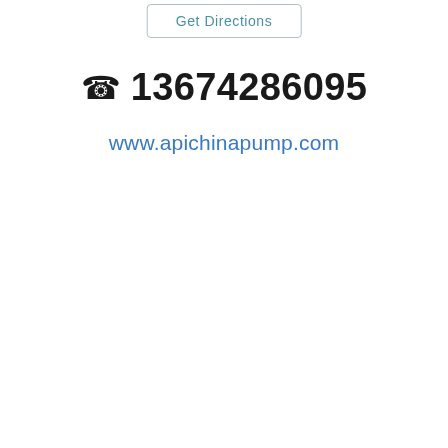Get Directions
📞 13674286095
www.apichinapump.com